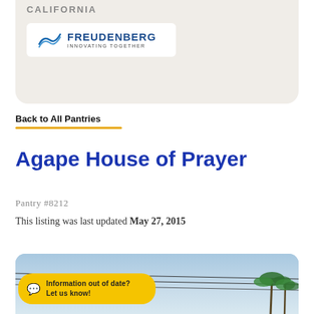CALIFORNIA
[Figure (logo): Freudenberg Innovating Together logo]
Back to All Pantries
Agape House of Prayer
Pantry #8212
This listing was last updated May 27, 2015
[Figure (photo): Street scene with palm trees and power lines against a blue sky]
Information out of date? Let us know!